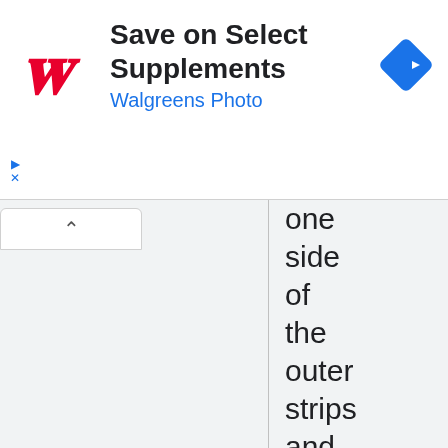[Figure (infographic): Walgreens advertisement banner: Walgreens cursive W logo in red, text 'Save on Select Supplements' in bold black, 'Walgreens Photo' in blue, and a blue diamond navigation icon on the right.]
one side of the outer strips and both sides of the slide